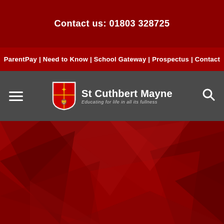Contact us: 01803 328725
ParentPay | Need to Know | School Gateway | Prospectus | Contact
[Figure (logo): St Cuthbert Mayne school logo with shield and text 'Educating for life in all its fullness']
[Figure (photo): Red geometric abstract triangle pattern hero background image]